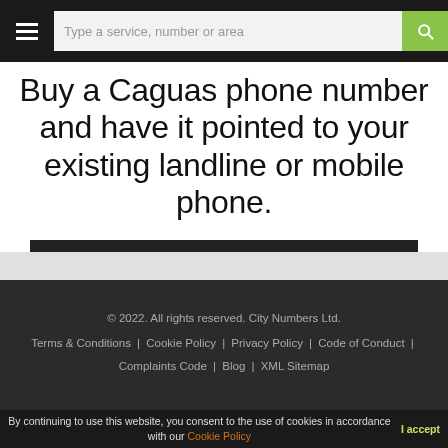☰  Type a service, number or area  🔍
Buy a Caguas phone number and have it pointed to your existing landline or mobile phone.
ACTIVATE YOUR CAGUAS NUMBER NOW
© 2022. All rights reserved. City Numbers Ltd. | Terms & Conditions | Cookie Policy | Privacy Policy | Code of Conduct | Complaints Code | Blog | XML Sitemap
By continuing to use this website, you consent to the use of cookies in accordance with our Cookie Policy  I accept